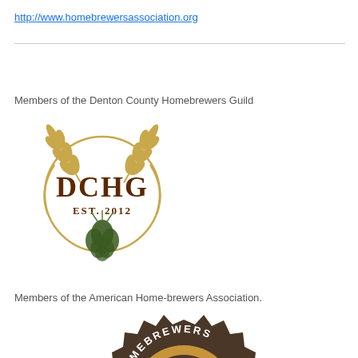http://www.homebrewersassociation.org
[Figure (logo): DCHG (Denton County Homebrewers Guild) logo with wheat stalks, circular wreath, and hop cone. Text reads DCHG EST. 2012]
Members of the Denton County Homebrewers Guild
Members of the American Home-brewers Association.
[Figure (logo): American Homebrewers Association gear/badge logo with text HOMEBREWERS arched around top, dark brown gear background with gold beer mug and lightning bolt design]